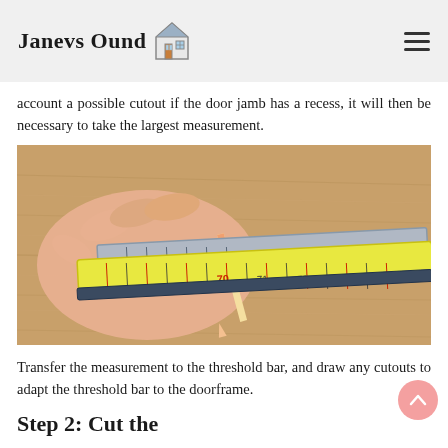Janevs Ound [house icon]
account a possible cutout if the door jamb has a recess, it will then be necessary to take the largest measurement.
[Figure (photo): A hand holding a pencil against a yellow tape measure and a metal ruler on a wooden surface, measuring something.]
Transfer the measurement to the threshold bar, and draw any cutouts to adapt the threshold bar to the doorframe.
Step 2: Cut the